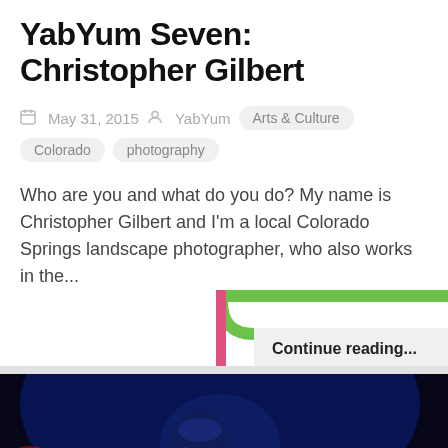YabYum Seven: Christopher Gilbert
May 31, 2015   YabYum   Arts & Culture   Colorado   photography
Who are you and what do you do? My name is Christopher Gilbert and I'm a local Colorado Springs landscape photographer, who also works in the...
Continue reading...
[Figure (photo): Concert photo of a male performer singing into a microphone under blue and red stage lighting, dark background]